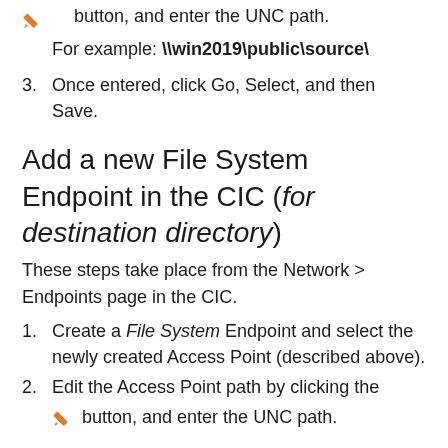button, and enter the UNC path.
For example: \\win2019\public\source\
3. Once entered, click Go, Select, and then Save.
Add a new File System Endpoint in the CIC (for destination directory)
These steps take place from the Network > Endpoints page in the CIC.
1. Create a File System Endpoint and select the newly created Access Point (described above).
2. Edit the Access Point path by clicking the
button, and enter the UNC path.